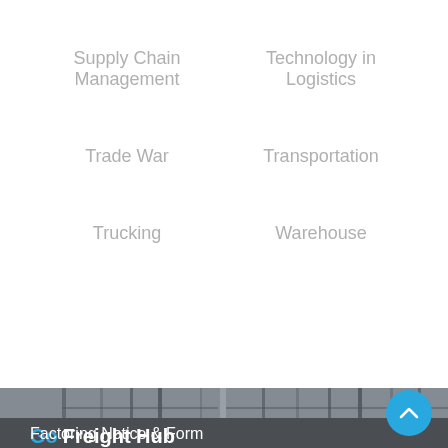Supply Chain Management
Technology in Logistics
Trade War
Transportation
Trucking
Warehouse
[Figure (photo): Warehouse interior with metal shelving/racking structures viewed from above or at an angle]
Go Freight Hub
OW
TOC
About Us
Factoring Notice & Form